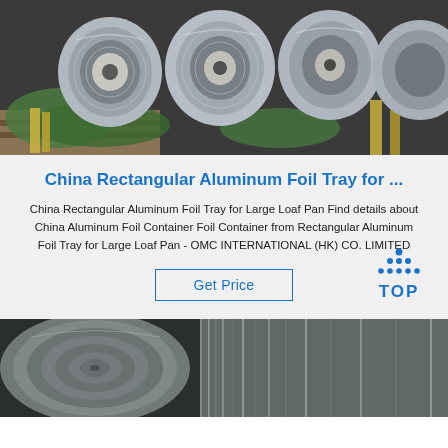[Figure (photo): Photo of aluminum foil rolls/coils stacked on pallets with green packaging material in a warehouse setting]
China Rectangular Aluminum Foil Tray for ...
China Rectangular Aluminum Foil Tray for Large Loaf Pan Find details about China Aluminum Foil Container Foil Container from Rectangular Aluminum Foil Tray for Large Loaf Pan - OMC INTERNATIONAL (HK) CO. LIMITED
Get Price
[Figure (logo): TOP logo with blue dots arranged in a triangle above the word TOP in blue]
[Figure (photo): Photo of large aluminum coils/rolls viewed from the side in close-up]